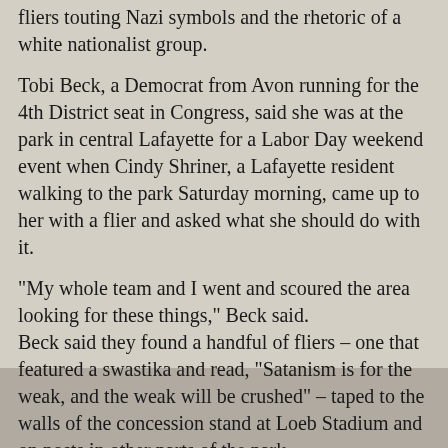fliers touting Nazi symbols and the rhetoric of a white nationalist group.
Tobi Beck, a Democrat from Avon running for the 4th District seat in Congress, said she was at the park in central Lafayette for a Labor Day weekend event when Cindy Shriner, a Lafayette resident walking to the park Saturday morning, came up to her with a flier and asked what she should do with it.
“My whole team and I went and scoured the area looking for these things,” Beck said. Beck said they found a handful of fliers – one that featured a swastika and read, “Satanism is for the weak, and the weak will be crushed” – taped to the walls of the concession stand at Loeb Stadium and on posts in other parts of the park.
The fliers included the web address of the National Socialist Legion, a spinoff of Vanguard America, a white nationalist group – then known as American Vanguard – that has distributed posters and propaganda in the past two years at Purdue